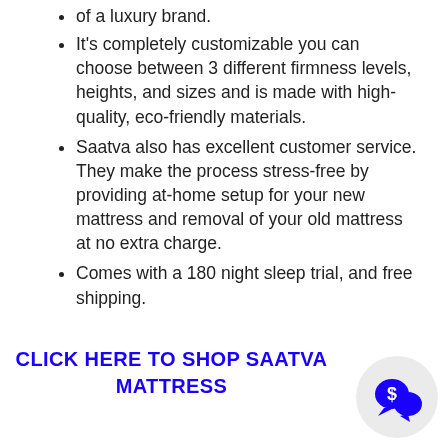of a luxury brand.
It's completely customizable you can choose between 3 different firmness levels, heights, and sizes and is made with high-quality, eco-friendly materials.
Saatva also has excellent customer service. They make the process stress-free by providing at-home setup for your new mattress and removal of your old mattress at no extra charge.
Comes with a 180 night sleep trial, and free shipping.
CLICK HERE TO SHOP SAATVA MATTRESS